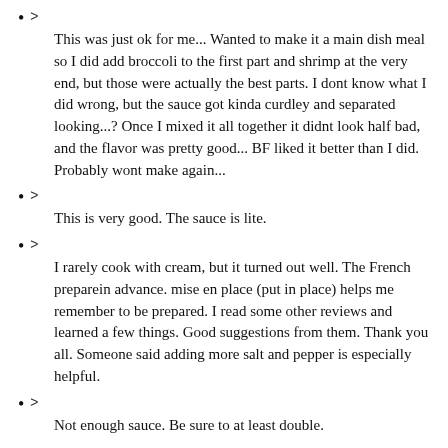> This was just ok for me... Wanted to make it a main dish meal so I did add broccoli to the first part and shrimp at the very end, but those were actually the best parts. I dont know what I did wrong, but the sauce got kinda curdley and separated looking...? Once I mixed it all together it didnt look half bad, and the flavor was pretty good... BF liked it better than I did. Probably wont make again...
> This is very good. The sauce is lite.
> I rarely cook with cream, but it turned out well. The French preparein advance. mise en place (put in place) helps me remember to be prepared. I read some other reviews and learned a few things. Good suggestions from them. Thank you all. Someone said adding more salt and pepper is especially helpful.
> Not enough sauce. Be sure to at least double.